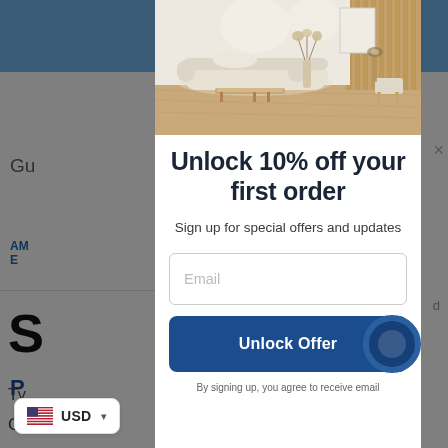[Figure (screenshot): E-commerce website screenshot showing a checkout page with payment options (American Express, PayPal) partially visible behind a modal dialog overlay.]
[Figure (photo): Interior design room photo showing a modern living room with a cream/white curved sofa, wooden coffee table, decorative vase with dried flowers, and warm lighting against a slatted wood wall.]
Unlock 10% off your first order
Sign up for special offers and updates
Email
Unlock Offer
By signing up, you agree to receive email
USD